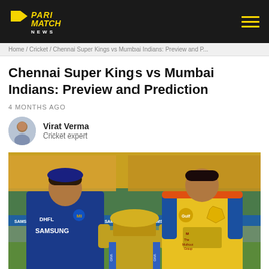PARI MATCH NEWS
Home / Cricket / Chennai Super Kings vs Mumbai Indians: Preview and P...
Chennai Super Kings vs Mumbai Indians: Preview and Prediction
4 MONTHS AGO
Virat Verma
Cricket expert
[Figure (photo): Two cricket captains (Rohit Sharma in Mumbai Indians blue jersey with DHFL/Samsung sponsorship, and MS Dhoni in Chennai Super Kings yellow jersey with Gulf/Muthoot Group sponsorship) posing with the IPL trophy on a cricket ground with spectators in the background.]